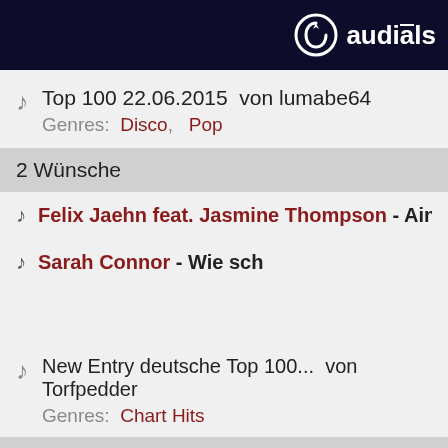audials
Top 100 22.06.2015  von lumabe64
Genres:  Disco,   Pop
2 Wünsche
Felix Jaehn feat. Jasmine Thompson - Ain't Nobo
Sarah Connor - Wie sch
New Entry deutsche Top 100...  von Torfpedder
Genres:  Chart Hits
12 Wünsche
Ali Bumaye feat. Bushido&Shindy - Same Shit Di